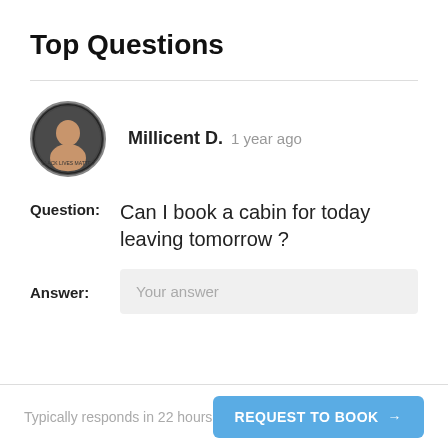Top Questions
Millicent D.  1 year ago
Question:  Can I book a cabin for today leaving tomorrow ?
Answer:  Your answer
Typically responds in 22 hours  REQUEST TO BOOK →